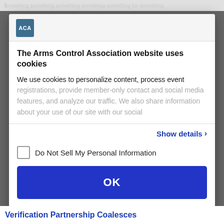Something something something something something for something
[Figure (logo): ACA (Arms Control Association) logo — blue square with white text 'ACA']
The Arms Control Association website uses cookies
We use cookies to personalize content, process event registrations, provide member-only contact and social media features, and analyze our traffic. We also share information about your use of our site with our social
Show details >
Do Not Sell My Personal Information
OK
Powered by Cookiebot by Usercentrics
Verification Partnership Coalesces